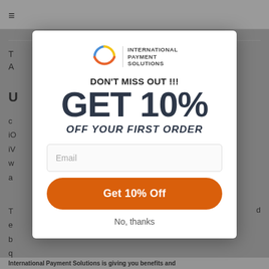[Figure (screenshot): Background page with navigation bar and partial text content visible behind modal overlay]
[Figure (other): International Payment Solutions modal popup with logo, promotional discount offer, email input field, orange CTA button, and dismiss link]
DON'T MISS OUT !!!
GET 10%
OFF YOUR FIRST ORDER
Email
Get 10% Off
No, thanks